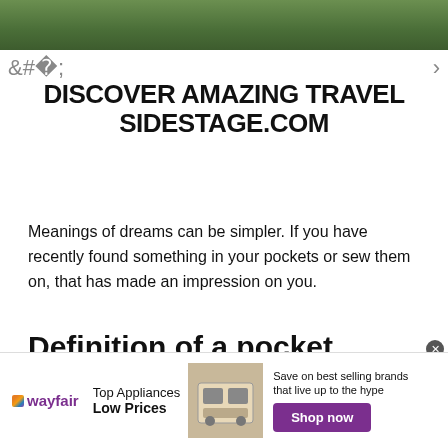[Figure (photo): Outdoor nature scene with green grass, partially visible at the top of the page]
DISCOVER AMAZING TRAVEL SIDESTAGE.COM
Meanings of dreams can be simpler. If you have recently found something in your pockets or sew them on, that has made an impression on you.
Definition of a pocket
A pocket is a piece of clothing similar to a bag that can hold money, a phone, key, or any other small item that u...
[Figure (photo): Wayfair advertisement banner. Shows Wayfair logo, 'Top Appliances Low Prices', image of kitchen appliance, and 'Save on best selling brands that live up to the hype' with a purple 'Shop now' button.]